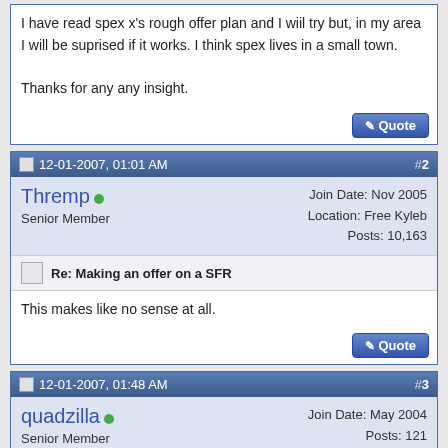I have read spex x's rough offer plan and I wiil try but, in my area I will be suprised if it works. I think spex lives in a small town.

Thanks for any any insight.
12-01-2007, 01:01 AM  #2
Thremp  Senior Member   Join Date: Nov 2005 Location: Free Kyleb Posts: 10,163
Re: Making an offer on a SFR
This makes like no sense at all.
12-01-2007, 01:48 AM  #3
quadzilla  Senior Member   Join Date: May 2004 Posts: 121
Re: Making an offer on a SFR
SFR listed at $589,000

It is also listed at as a rental at $1900 a month.